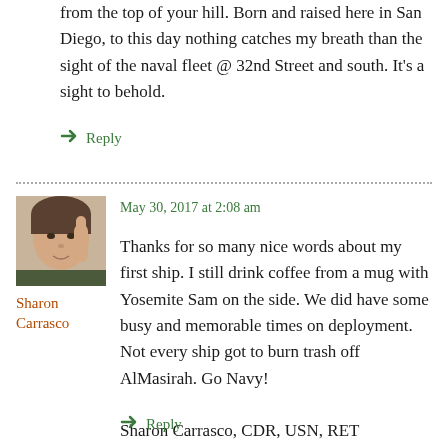from the top of your hill. Born and raised here in San Diego, to this day nothing catches my breath than the sight of the naval fleet @ 32nd Street and south. It's a sight to behold.
↳ Reply
[Figure (photo): Profile photo of Sharon Carrasco, a woman posing with hand raised near face]
Sharon Carrasco
May 30, 2017 at 2:08 am
Thanks for so many nice words about my first ship. I still drink coffee from a mug with Yosemite Sam on the side. We did have some busy and memorable times on deployment. Not every ship got to burn trash off AlMasirah. Go Navy!

Sharon Carrasco, CDR, USN, RET
↳ Reply